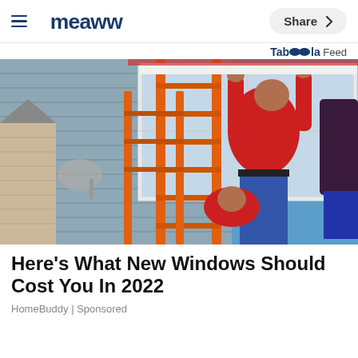Meaww | Share
Taboola Feed
[Figure (photo): Workers installing a new window on a house exterior; person in red shirt climbing an orange ladder, grey vinyl siding, blue sky]
Here's What New Windows Should Cost You In 2022
HomeBuddy | Sponsored